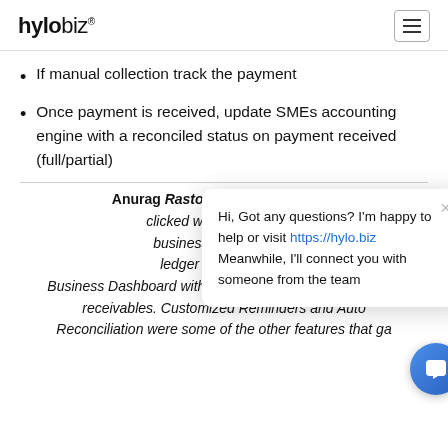hylobiz®
If manual collection track the payment
Once payment is received, update SMEs accounting engine with a reconciled status on payment received (full/partial)
Anurag Rastogi also talk... clicked with our users we... business process simp... ledger view between... Business Dashboard with simplistic view of payables and receivables. Customized Reminders and Auto Reconciliation were some of the other features that ga... a thumbs up from our customers
[Figure (screenshot): Chat popup widget showing: Hi, Got any questions? I'm happy to help or visit https://hylo.biz Meanwhile, I'll connect you with someone from the team. With a blue circular chat button at bottom right.]